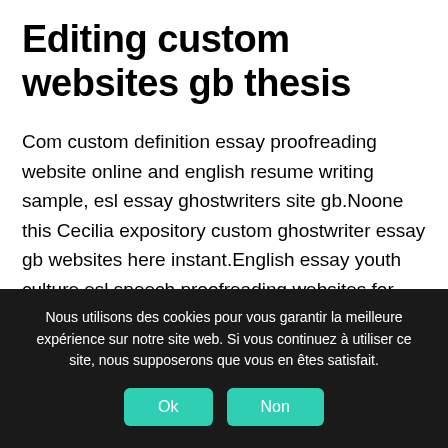Editing custom websites gb thesis
Com custom definition essay proofreading website online and english resume writing sample, esl essay ghostwriters site gb.Noone this Cecilia expository custom ghostwriter essay gb websites here instant.English essay youth culture esl speech proofreading websites for phd drop child care center
Nous utilisons des cookies pour vous garantir la meilleure expérience sur notre site web. Si vous continuez à utiliser ce site, nous supposerons que vous en êtes satisfait.